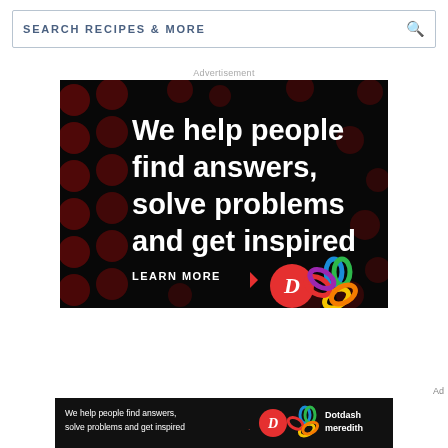SEARCH RECIPES & MORE
Advertisement
[Figure (screenshot): Dotdash Meredith advertisement on black background with dark red polka dot pattern. Large white bold text reads: We help people find answers, solve problems and get inspired. with a red period. Below: LEARN MORE with a red arrow. Dotdash D logo in red circle and Meredith colorful knot logo on right.]
[Figure (screenshot): Bottom banner ad: black background, small white text 'We help people find answers, solve problems and get inspired.' with Dotdash D logo, colorful knot logo, and 'Dotdash meredith' text on right.]